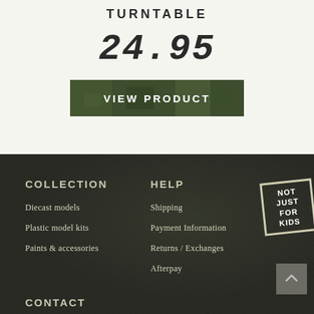TURNTABLE
24.95
[Figure (other): Camouflage patterned button with text VIEW PRODUCT]
COLLECTION
HELP
[Figure (logo): NOT JUST FOR KIDS badge stamp]
Diecast models
Plastic model kits
Paints & accessories
Shipping
Payment Information
Returns / Exchanges
Afterpay
CONTACT